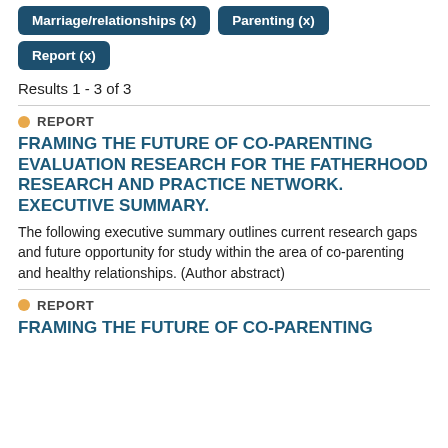Marriage/relationships (x)
Parenting (x)
Report (x)
Results 1 - 3 of 3
REPORT
FRAMING THE FUTURE OF CO-PARENTING EVALUATION RESEARCH FOR THE FATHERHOOD RESEARCH AND PRACTICE NETWORK. EXECUTIVE SUMMARY.
The following executive summary outlines current research gaps and future opportunity for study within the area of co-parenting and healthy relationships. (Author abstract)
REPORT
FRAMING THE FUTURE OF CO-PARENTING